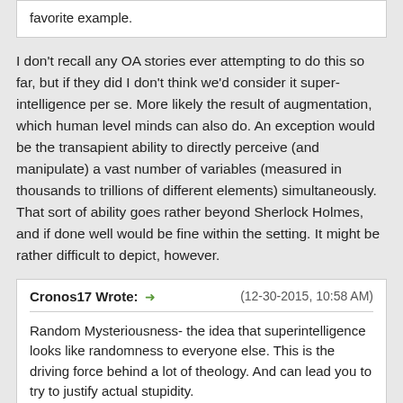favorite example.
I don't recall any OA stories ever attempting to do this so far, but if they did I don't think we'd consider it super-intelligence per se. More likely the result of augmentation, which human level minds can also do. An exception would be the transapient ability to directly perceive (and manipulate) a vast number of variables (measured in thousands to trillions of different elements) simultaneously. That sort of ability goes rather beyond Sherlock Holmes, and if done well would be fine within the setting. It might be rather difficult to depict, however.
Cronos17 Wrote: ➜ (12-30-2015, 10:58 AM) Random Mysteriousness- the idea that superintelligence looks like randomness to everyone else. This is the driving force behind a lot of theology. And can lead you to try to justify actual stupidity.
The archai do work in mysterious ways, but I don't think we take the position that they work in random ones. If